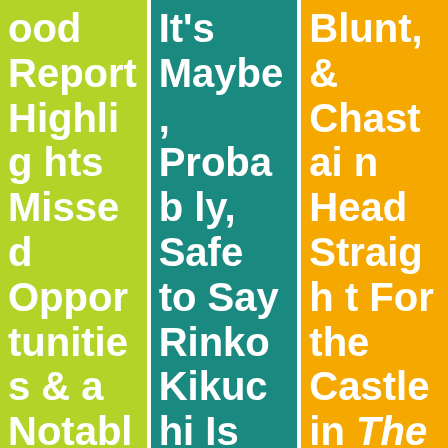ood Report Highlights Missed Opportunities & a Notable Drop in LGBTQ Charac
It's Maybe, Probably, Safe to Say Rinko Kikuchi Is Back For Pacific Rim: Uprisin g
Blunt, & Chastain Head Straight For the Castle in The Huntsman: Winter'